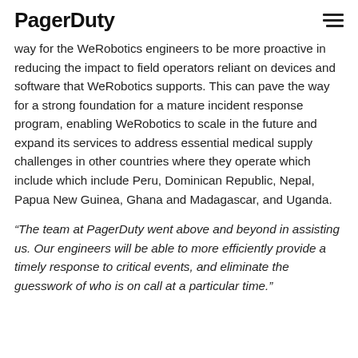PagerDuty
way for the WeRobotics engineers to be more proactive in reducing the impact to field operators reliant on devices and software that WeRobotics supports. This can pave the way for a strong foundation for a mature incident response program, enabling WeRobotics to scale in the future and expand its services to address essential medical supply challenges in other countries where they operate which include which include Peru, Dominican Republic, Nepal, Papua New Guinea, Ghana and Madagascar, and Uganda.
“The team at PagerDuty went above and beyond in assisting us. Our engineers will be able to more efficiently provide a timely response to critical events, and eliminate the guesswork of who is on call at a particular time.”